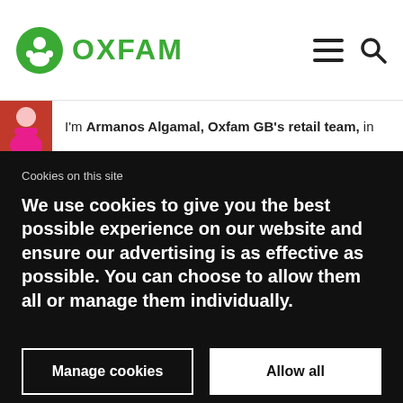OXFAM
I'm Armanos Algamal, Oxfam GB's retail team, in
Cookies on this site
We use cookies to give you the best possible experience on our website and ensure our advertising is as effective as possible. You can choose to allow them all or manage them individually.
Manage cookies
Allow all